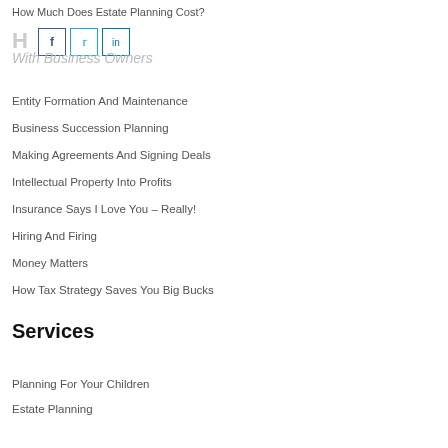How Much Does Estate Planning Cost?
H… With Business Owners
Entity Formation And Maintenance
Business Succession Planning
Making Agreements And Signing Deals
Intellectual Property Into Profits
Insurance Says I Love You – Really!
Hiring And Firing
Money Matters
How Tax Strategy Saves You Big Bucks
Services
Planning For Your Children
Estate Planning